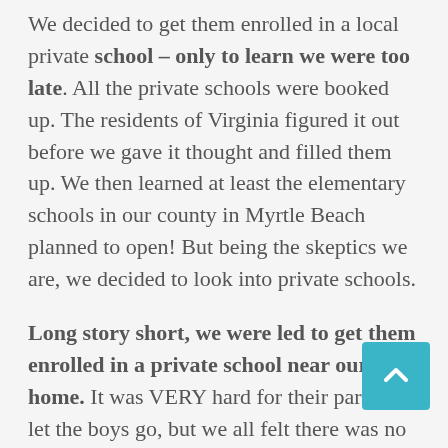We decided to get them enrolled in a local private school – only to learn we were too late. All the private schools were booked up. The residents of Virginia figured it out before we gave it thought and filled them up. We then learned at least the elementary schools in our county in Myrtle Beach planned to open! But being the skeptics we are, we decided to look into private schools.

Long story short, we were led to get them enrolled in a private school near our home. It was VERY hard for their parents to let the boys go, but we all felt there was no choice. We brought the boys back to Myrtle Beach with us. The private school had a hard date to start while the public schools were still being left with lots of uncertainty. As it turned out, the public schools opened to those who